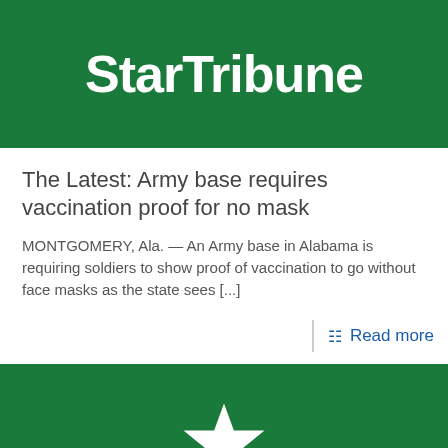[Figure (logo): Star Tribune newspaper logo — white bold text on green background]
The Latest: Army base requires vaccination proof for no mask
MONTGOMERY, Ala. — An Army base in Alabama is requiring soldiers to show proof of vaccination to go without face masks as the state sees [...]
Read more
[Figure (logo): Star Tribune logo partial — green background with white star shape visible at bottom]